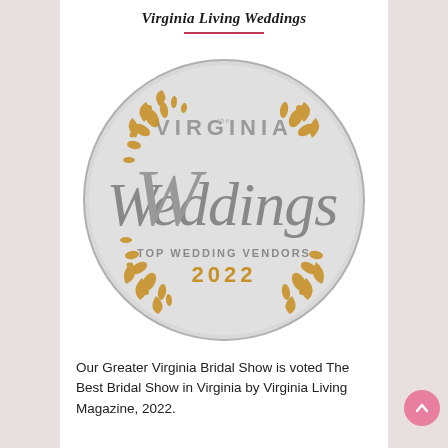Virginia Living Weddings
[Figure (logo): Virginia Living Weddings Top Wedding Vendors 2022 circular badge/logo with ornate gold floral scrollwork on a light grey circle background. Text reads VIRGINIA Weddings TOP WEDDING VENDORS 2022.]
Our Greater Virginia Bridal Show is voted The Best Bridal Show in Virginia by Virginia Living Magazine, 2022.